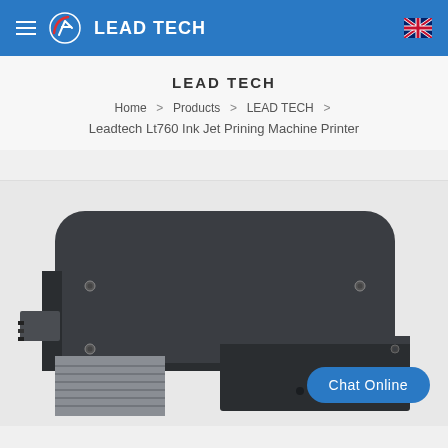LEAD TECH — navigation bar with hamburger menu, logo, and UK flag
LEAD TECH
Home > Products > LEAD TECH > Leadtech Lt760 Ink Jet Prining Machine Printer
[Figure (photo): Close-up photo of a Leadtech Lt760 Ink Jet Printing Machine Printer showing the dark grey/black printer body with rounded top housing, ventilation slots, mounting screws, and a smaller black component box on the lower right]
Chat Online